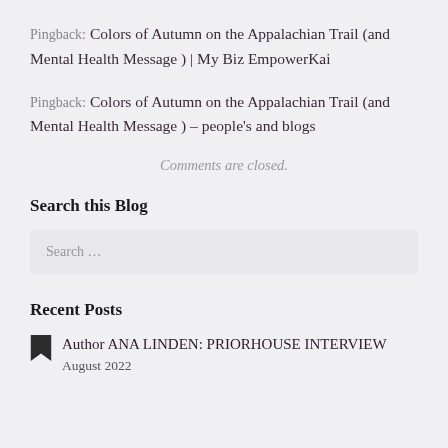Pingback: Colors of Autumn on the Appalachian Trail (and Mental Health Message ) | My Biz EmpowerKai
Pingback: Colors of Autumn on the Appalachian Trail (and Mental Health Message ) – people's and blogs
Comments are closed.
Search this Blog
Search …
Recent Posts
Author ANA LINDEN: PRIORHOUSE INTERVIEW
August 2022